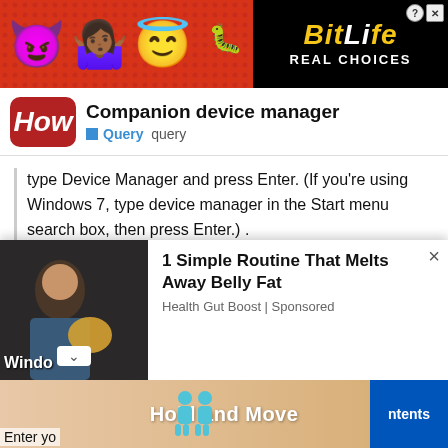[Figure (other): BitLife advertisement banner with emoji characters (devil, person, angel) on red dotted background, BitLife logo and REAL CHOICES text on black background]
Companion device manager
Query  query
type Device Manager and press Enter. (If you're using Windows 7, type device manager in the Start menu search box, then press Enter.) .
[Figure (other): Ad overlay: thumbnail of person with bowl, text '1 Simple Routine That Melts Away Belly Fat', source: Health Gut Boost | Sponsored]
[Figure (other): Bottom ad banner: Hold and Move with human figures icons, blue ntents button on right]